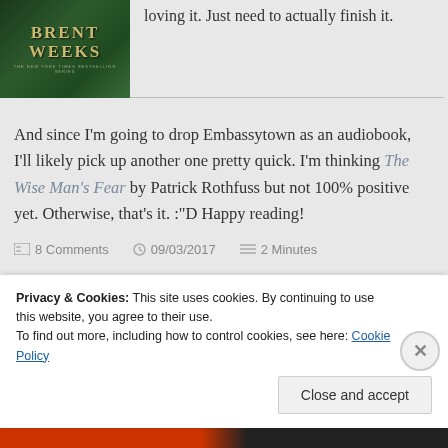[Figure (illustration): Book cover for a Brent Weeks novel — The New York Times Bestselling Series, dark green forest background with large serif title text 'BRENT WEEKS']
loving it. Just need to actually finish it.
And since I'm going to drop Embassytown as an audiobook, I'll likely pick up another one pretty quick. I'm thinking The Wise Man's Fear by Patrick Rothfuss but not 100% positive yet. Otherwise, that's it. :"D Happy reading!
8 Comments   09/03/2017   2 Minutes
Privacy & Cookies: This site uses cookies. By continuing to use this website, you agree to their use.
To find out more, including how to control cookies, see here: Cookie Policy
Close and accept